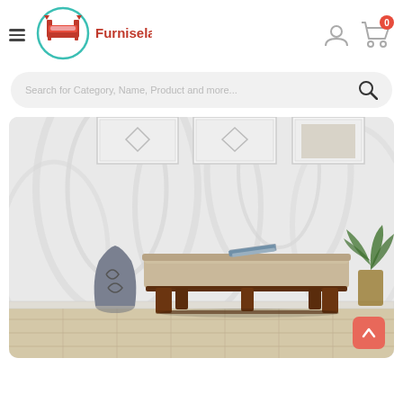[Figure (logo): Furniselan furniture store logo with circular emblem showing a bed/furniture icon in teal circle, red text 'Furniselan']
[Figure (screenshot): Search bar with placeholder text 'Search for Category, Name, Product and more...' and magnifying glass icon]
[Figure (photo): Product photo of a wooden bench with beige/tan upholstered seat, dark walnut-colored wooden legs, placed against a white floral wallpaper background with a decorative vase and plant]